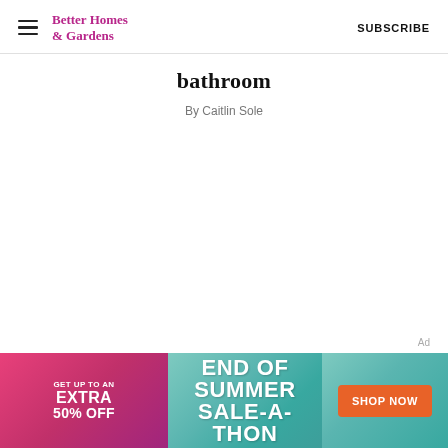Better Homes & Gardens | SUBSCRIBE
bathroom
By Caitlin Sole
[Figure (other): Advertisement banner: END OF SUMMER SALE-A-THON. Get up to an extra 50% off. Shop Now button.]